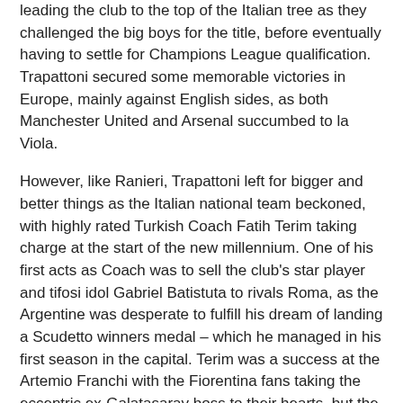leading the club to the top of the Italian tree as they challenged the big boys for the title, before eventually having to settle for Champions League qualification. Trapattoni secured some memorable victories in Europe, mainly against English sides, as both Manchester United and Arsenal succumbed to la Viola.
However, like Ranieri, Trapattoni left for bigger and better things as the Italian national team beckoned, with highly rated Turkish Coach Fatih Terim taking charge at the start of the new millennium. One of his first acts as Coach was to sell the club's star player and tifosi idol Gabriel Batistuta to rivals Roma, as the Argentine was desperate to fulfill his dream of landing a Scudetto winners medal – which he managed in his first season in the capital. Terim was a success at the Artemio Franchi with the Fiorentina fans taking the eccentric ex-Galatasaray boss to their hearts, but the larger than life Turk had a turbulent relationship with the owner which eventually led to his resignation. He landed the top job at Milan and took with him Portuguese crowd favourite Rui Costa, but not before the club